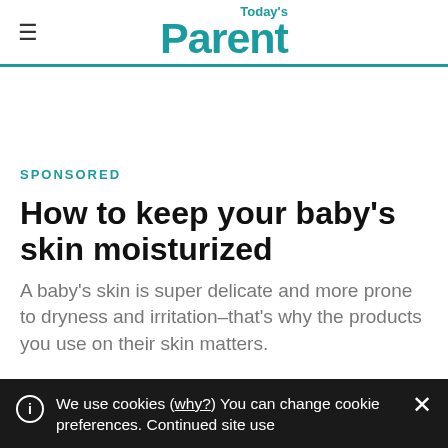Today's Parent
SPONSORED
How to keep your baby's skin moisturized
A baby's skin is super delicate and more prone to dryness and irritation–that's why the products you use on their skin matters.
We use cookies (why?) You can change cookie preferences. Continued site use